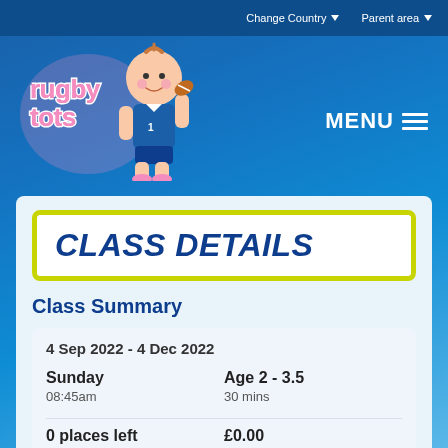Change Country ▼   Parent area ▼
[Figure (logo): Rugby Tots logo with cartoon baby rugby player character]
MENU ≡
CLASS DETAILS
Class Summary
| 4 Sep 2022 - 4 Dec 2022 |  |
| Sunday | Age 2 - 3.5 |
| 08:45am | 30 mins |
| 0 places left | £0.00 |